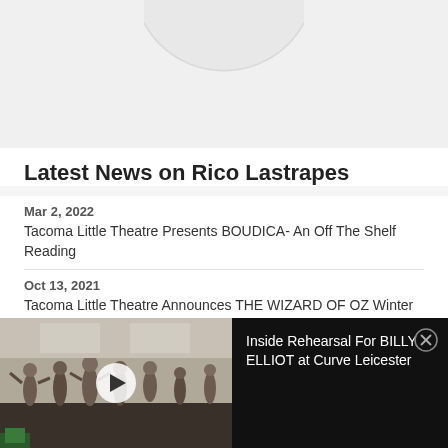[Figure (illustration): Partial circle/profile image arc visible at top of page]
Latest News on Rico Lastrapes
Mar 2, 2022
Tacoma Little Theatre Presents BOUDICA- An Off The Shelf Reading
Oct 13, 2021
Tacoma Little Theatre Announces THE WIZARD OF OZ Winter Break Camp
[Figure (screenshot): Video player showing rehearsal scene with people dancing in a studio. Right side shows black panel with text: Inside Rehearsal For BILLY ELLIOT at Curve Leicester]